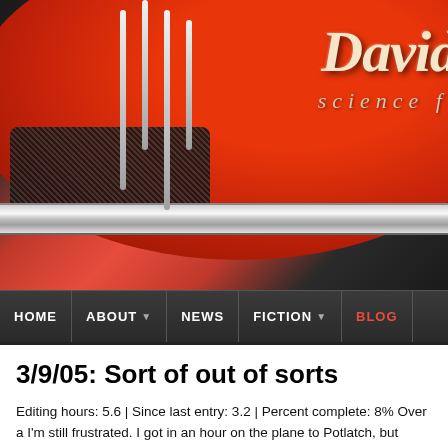[Figure (illustration): Website header banner showing a red vintage car hood/grill design with chrome accents and the text 'David' in italic font with 'science f' subtitle, on a dark background]
HOME  ABOUT  NEWS  FICTION  BLOG
3/9/05: Sort of out of sorts
Editing hours: 5.6 | Since last entry: 3.2 | Percent complete: 8% Over a I'm still frustrated. I got in an hour on the plane to Potlatch, but nothing a minutes on the plane back. Monday was Japanese class, and yesterday with a splitting headache and didn't have the energy to do anything pro got to sleep at a reasonable hour. Grr. Potlatch was a pretty good conv conversations and meals with friends new and old — but I felt rather ou Maybe it was just lack of sleep, but somehow I just wasn't in the mood t moment I am trying to remember what in life gives me joy. (It's not editir wondering if, when I remember that, I will be able to find the time to do i